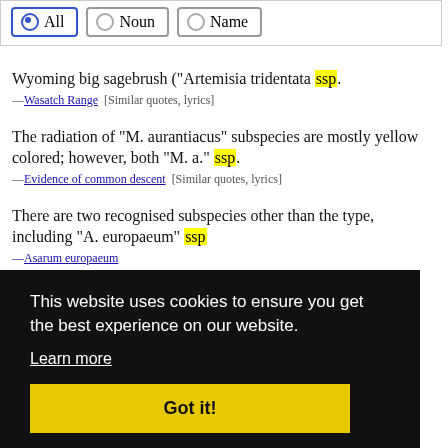[Figure (screenshot): Filter bar with radio buttons: All (selected), Noun, Name]
Wyoming big sagebrush ("Artemisia tridentata ssp. —Wasatch Range [Similar quotes, lyrics]
The radiation of "M. aurantiacus" subspecies are mostly yellow colored; however, both "M. a." ssp. —Evidence of common descent [Similar quotes, lyrics]
There are two recognised subspecies other than the type, including "A. europaeum" ssp. —Asarum europaeum
...white turnip ("Brassica rapa" ssp. rapi)... —[partial, covered]
...his plum is a cultivar of the egg plum group / Prunus domestica" ssp. —Victoria plum
[Figure (screenshot): Cookie consent overlay with text: 'This website uses cookies to ensure you get the best experience on our website.' with Learn more link and Got it! button]
"Leucantherum vulgare", "Myosotis" ssp